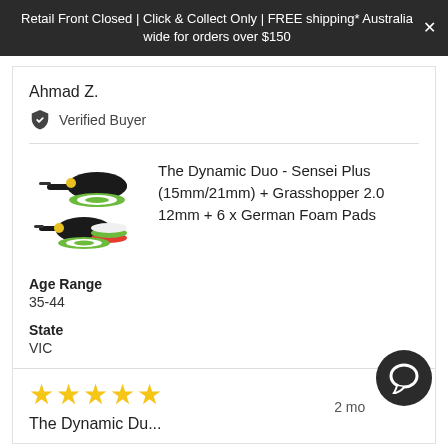Retail Front Closed | Click & Collect Only | FREE shipping* Australia wide for orders over $150
Ahmad Z.
Verified Buyer
[Figure (photo): Product photo of two cordless polishing machines with foam pads]
The Dynamic Duo - Sensei Plus (15mm/21mm) + Grasshopper 2.0 12mm + 6 x German Foam Pads
Age Range
35-44
State
VIC
★★★★★  2 months ago
The Dynamic Du...